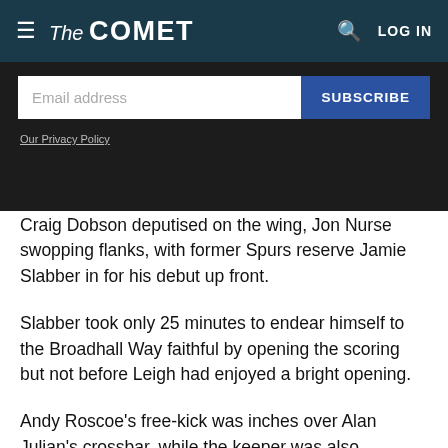The COMET — LOG IN
[Figure (screenshot): Email address subscription form with a white input field labelled 'Email address' and a blue 'SUBSCRIBE' button, on a dark background. A link 'Our Privacy Policy' appears below.]
Craig Dobson deputised on the wing, Jon Nurse swopping flanks, with former Spurs reserve Jamie Slabber in for his debut up front.
Slabber took only 25 minutes to endear himself to the Broadhall Way faithful by opening the scoring but not before Leigh had enjoyed a bright opening.
Andy Roscoe's free-kick was inches over Alan Julian's crossbar, while the keeper was also scrambling to get